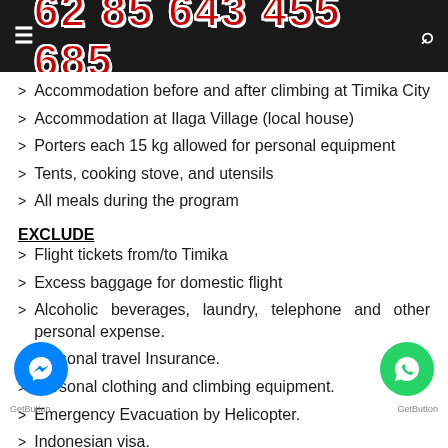62 85 643 455 685
Accommodation before and after climbing at Timika City
Accommodation at Ilaga Village (local house)
Porters each 15 kg allowed for personal equipment
Tents, cooking stove, and utensils
All meals during the program
EXCLUDE
Flight tickets from/to Timika
Excess baggage for domestic flight
Alcoholic beverages, laundry, telephone and other personal expense.
Personal travel Insurance.
Personal clothing and climbing equipment.
Emergency Evacuation by Helicopter.
Indonesian visa.